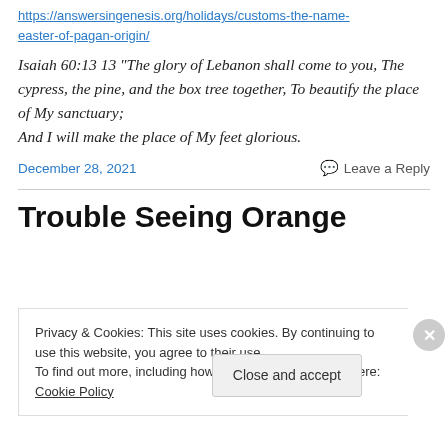https://answersingenesis.org/holidays/customs-the-name-easter-of-pagan-origin/
Isaiah 60:13 13 “The glory of Lebanon shall come to you, The cypress, the pine, and the box tree together, To beautify the place of My sanctuary; And I will make the place of My feet glorious.
December 28, 2021
Leave a Reply
Trouble Seeing Orange
Privacy & Cookies: This site uses cookies. By continuing to use this website, you agree to their use.
To find out more, including how to control cookies, see here: Cookie Policy
Close and accept